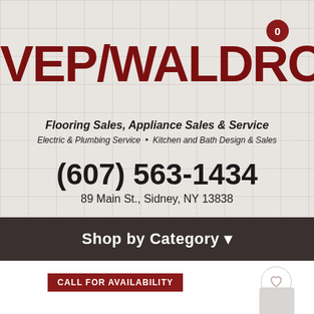[Figure (screenshot): Cart/notification badge showing 0]
VEP/WALDRON'S
Flooring Sales, Appliance Sales & Service
Electric & Plumbing Service • Kitchen and Bath Design & Sales
(607) 563-1434
89 Main St., Sidney, NY 13838
Shop by Category ▾
CALL FOR AVAILABILITY